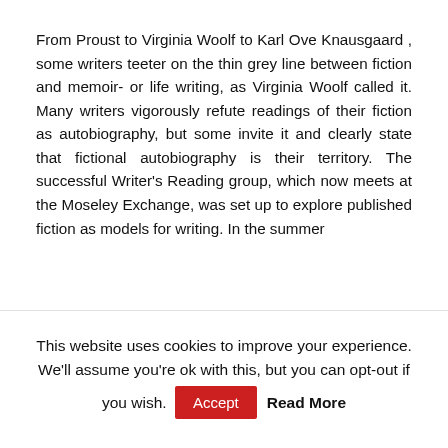From Proust to Virginia Woolf to Karl Ove Knausgaard , some writers teeter on the thin grey line between fiction and memoir- or life writing, as Virginia Woolf called it. Many writers vigorously refute readings of their fiction as autobiography, but some invite it and clearly state that fictional autobiography is their territory. The successful Writer's Reading group, which now meets at the Moseley Exchange, was set up to explore published fiction as models for writing. In the summer
This website uses cookies to improve your experience. We'll assume you're ok with this, but you can opt-out if you wish.